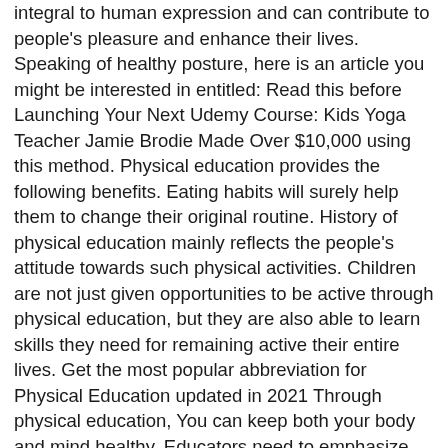integral to human expression and can contribute to people's pleasure and enhance their lives. Speaking of healthy posture, here is an article you might be interested in entitled: Read this before Launching Your Next Udemy Course: Kids Yoga Teacher Jamie Brodie Made Over $10,000 using this method. Physical education provides the following benefits. Eating habits will surely help them to change their original routine. History of physical education mainly reflects the people's attitude towards such physical activities. Children are not just given opportunities to be active through physical education, but they are also able to learn skills they need for remaining active their entire lives. Get the most popular abbreviation for Physical Education updated in 2021 Through physical education, You can keep both your body and mind healthy. Educators need to emphasize the importance of a strong program for physical education and place a priority on children being active at school. Read this before Launching Your Next Udemy Course: Kids Yoga Teacher Jamie Brodie Made Over $10,000 using this method. physical education (noun) training